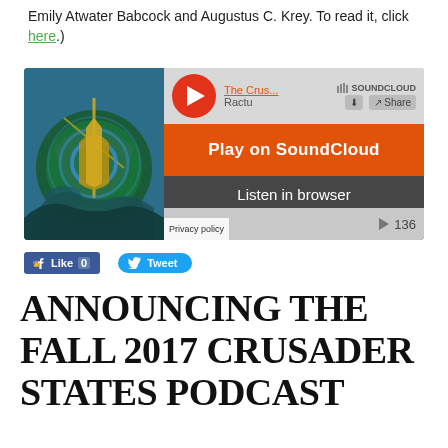Emily Atwater Babcock and Augustus C. Krey. To read it, click here.)
[Figure (screenshot): SoundCloud embedded player showing 'The Crus...' podcast, with orange Play on SoundCloud button, Listen in browser option, waveform visualization showing 9:30 duration, and play count of 136.]
[Figure (infographic): Facebook Like (0) button and Twitter Tweet button social sharing bar]
ANNOUNCING THE FALL 2017 CRUSADER STATES PODCAST